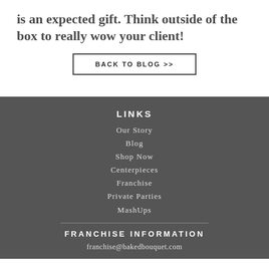is an expected gift. Think outside of the box to really wow your client!
BACK TO BLOG >>
LINKS
Our Story
Blog
Shop Now
Centerpieces
Franchise
Private Parties
MashUps
FRANCHISE INFORMATION
franchise@bakedbouquet.com